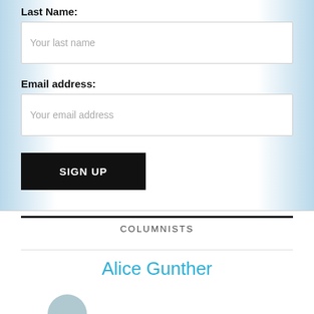Last Name:
Your last name
Email address:
Your email address
SIGN UP
COLUMNISTS
Alice Gunther
[Figure (photo): Partial circular avatar/headshot photo at bottom of page]